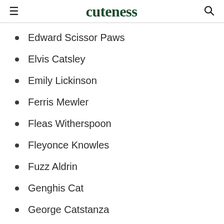cuteness
Edward Scissor Paws
Elvis Catsley
Emily Lickinson
Ferris Mewler
Fleas Witherspoon
Fleyonce Knowles
Fuzz Aldrin
Genghis Cat
George Catstanza
George Cloonflea